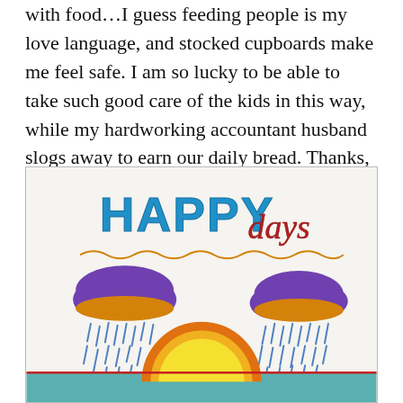with food…I guess feeding people is my love language, and stocked cupboards make me feel safe. I am so lucky to be able to take such good care of the kids in this way, while my hardworking accountant husband slogs away to earn our daily bread. Thanks, honey.
[Figure (illustration): Child's crayon drawing titled 'HAPPY days' with blue block letters and red cursive script. Scene shows two purple storm clouds with orange bases raining blue droplets on either side, and a large orange and yellow sun rising from a teal/blue horizon in the center. An orange wavy line runs beneath the title text.]